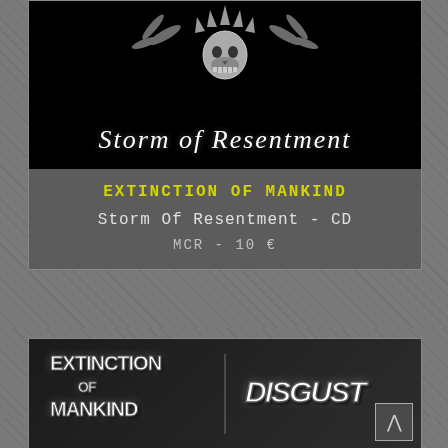[Figure (photo): Album cover for Extinction of Mankind - Storm of Resentment CD. Black background with a skull/native headdress graphic and decorative metal-style logo text 'Storm of Resentment' in ornate gothic lettering.]
EXTINCTION OF MANKIND
Storm Of Resentment - CD
MCR - 10 €
[Figure (photo): Split album cover showing two band logos on a dark background: 'Extinction of Mankind' on the left and 'Disgust' on the right, both in spiky/jagged white metal lettering.]